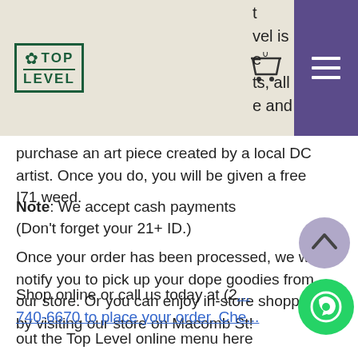[Figure (logo): Top Level cannabis store logo with leaf icon, shopping cart icon with 0 badge, and purple hamburger menu button. Navigation bar on beige background. Partial text visible in top-right corner.]
purchase an art piece created by a local DC artist. Once you do, you will be given a free I71 weed.
Once your order has been processed, we will notify you to pick up your dope goodies from our store. Or you can enjoy in-store shopping by visiting our store on Macomb St!
Note: We accept cash payments (Don't forget your 21+ ID.)
Shop online or call us today at (2... 740-6670 to place your order. Che... out the Top Level online menu here